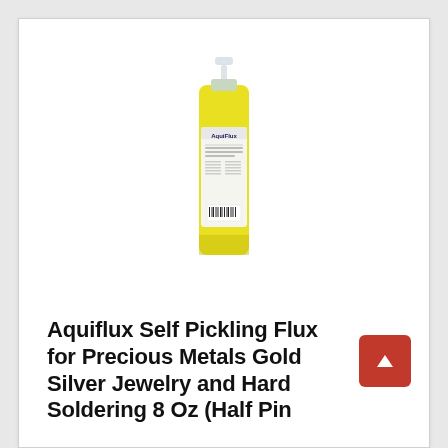[Figure (photo): A yellow spray bottle of Aquiflux Self Pickling Flux with a white pump sprayer top and a white label showing the Aquiflux logo and product details, including a barcode at the bottom.]
Aquiflux Self Pickling Flux for Precious Metals Gold Silver Jewelry and Hard Soldering 8 Oz (Half Pin…